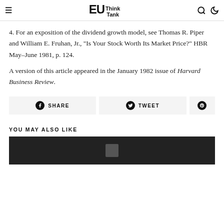EU Think Tank
4. For an exposition of the dividend growth model, see Thomas R. Piper and William E. Fruhan, Jr., “Is Your Stock Worth Its Market Price?” HBR May–June 1981, p. 124.
A version of this article appeared in the January 1982 issue of Harvard Business Review.
[Figure (other): Social sharing buttons: Share, Tweet, and Pinterest icon]
YOU MAY ALSO LIKE
[Figure (photo): Dark image thumbnail at bottom of page]